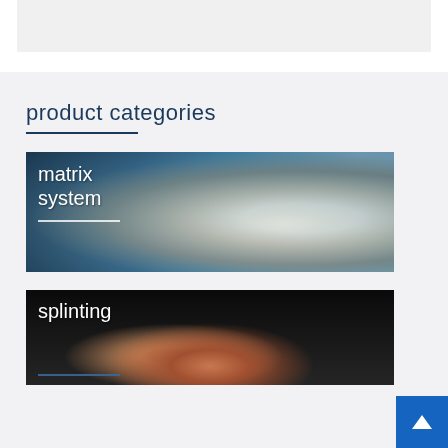[Figure (photo): Gray banner area at top of page]
product categories
[Figure (photo): Matrix system dental product category image showing a dental matrix band being applied to a molar tooth, close-up view with blue tones and dental tools visible. Text overlay reads 'matrix system' in white.]
[Figure (photo): Splinting dental product category image showing a close-up of a tooth splinting procedure with thin wires/fiber being applied to teeth, dark background with warm tones. Text overlay reads 'splinting' in white.]